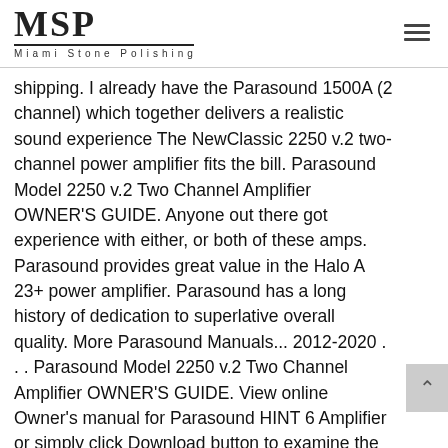MSP Miami Stone Polishing
shipping. I already have the Parasound 1500A (2 channel) which together delivers a realistic sound experience The NewClassic 2250 v.2 two-channel power amplifier fits the bill. Parasound Model 2250 v.2 Two Channel Amplifier OWNER'S GUIDE. Anyone out there got experience with either, or both of these amps. Parasound provides great value in the Halo A 23+ power amplifier. Parasound has a long history of dedication to superlative overall quality. More Parasound Manuals... 2012-2020 . . . Parasound Model 2250 v.2 Two Channel Amplifier OWNER'S GUIDE. View online Owner's manual for Parasound HINT 6 Amplifier or simply click Download button to examine the Parasound HINT 6 guidelines offline on your desktop or laptop computer. Was: $30.00. Parasound Halo Integrated DAC-Integrated Amplifier Price: $2495 USD. Parasound DR25